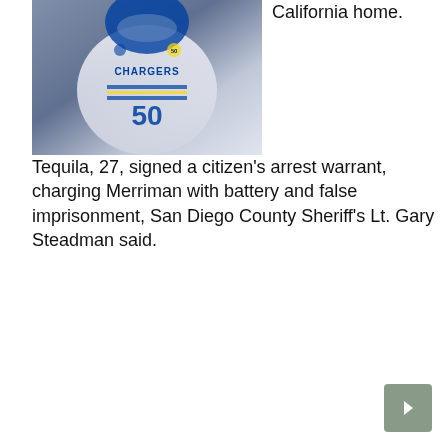[Figure (photo): Photo of a football player in a San Diego Chargers jersey (number 50 visible), white uniform with blue and gold trim.]
California home.
Tequila, 27, signed a citizen's arrest warrant, charging Merriman with battery and false imprisonment, San Diego County Sheriff's Lt. Gary Steadman said.